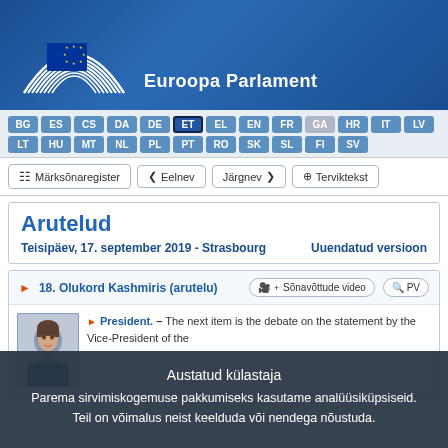[Figure (logo): European Parliament logo with hemicycle graphic and EU flag, white on dark blue background, with text 'Euroopa Parlament']
[Figure (screenshot): Language selection bar with EU language codes: BG ES CS DA DE ET EL EN FR GA HR IT LV LT HU MT NL PL PT RO SK SL FI SV. ET is highlighted as active.]
[Figure (screenshot): Navigation bar with buttons: Märksõnaregister, Eelnev (back arrow), Järgnev (forward arrow), Terviktekst]
Arutelud
Teisipäev, 17. september 2019 - Strasbourg     Uuendatud versioon
18. Olukord Kashmiris (arutelu)
President. – The next item is the debate on the statement by the Vice-President of the Commission...
Austatud külastaja
Parema sirvimiskogemuse pakkumiseks kasutame analüüsiküpsiseid. Teil on võimalus neist keelduda või nendega nõustuda.